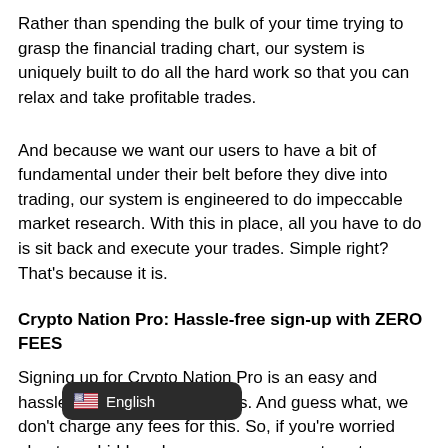Rather than spending the bulk of your time trying to grasp the financial trading chart, our system is uniquely built to do all the hard work so that you can relax and take profitable trades.
And because we want our users to have a bit of fundamental under their belt before they dive into trading, our system is engineered to do impeccable market research. With this in place, all you have to do is sit back and execute your trades. Simple right? That's because it is.
Crypto Nation Pro: Hassle-free sign-up with ZERO FEES
Signing up for Crypto Nation Pro is an easy and hassle-free three-step process. And guess what, we don't charge any fees for this. So, if you're worried about any hidden charges, we urge you to put your fears to rest as we make our dealings transparent. Signing up for Crypto Nation Pro is an easy and hassle-free three-step process. And guess